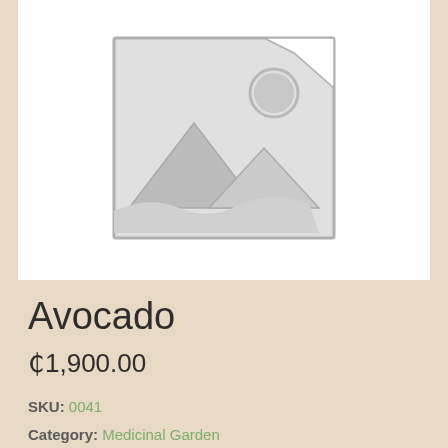[Figure (illustration): Placeholder image icon — a grey square outline with a mountain/landscape silhouette and a circle representing the sun in the upper right, typical of image placeholder graphics.]
Avocado
₵1,900.00
SKU: 0041
Category: Medicinal Garden